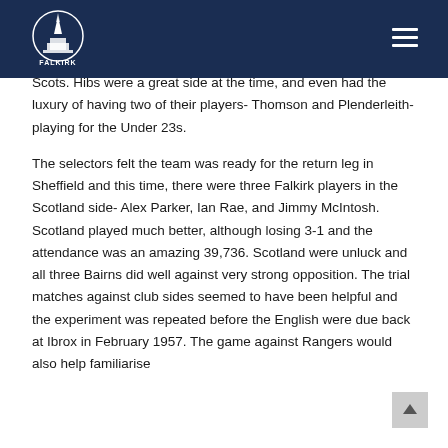Falkirk FC website header with logo and navigation menu
Scots. Hibs were a great side at the time, and even had the luxury of having two of their players- Thomson and Plenderleith- playing for the Under 23s.
The selectors felt the team was ready for the return leg in Sheffield and this time, there were three Falkirk players in the Scotland side- Alex Parker, Ian Rae, and Jimmy McIntosh. Scotland played much better, although losing 3-1 and the attendance was an amazing 39,736. Scotland were unluck and all three Bairns did well against very strong opposition. The trial matches against club sides seemed to have been helpful and the experiment was repeated before the English were due back at Ibrox in February 1957. The game against Rangers would also help familiarise